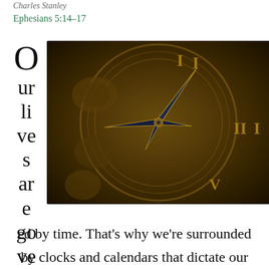Charles Stanley
Ephesians 5:14–17
[Figure (photo): Close-up of an ornate brass/bronze clock face with Roman numerals and elaborately decorated hands, showing the time near 12 o'clock. The clock face has intricate engraved decorative patterns. The drop cap letter 'O' begins the word 'Our lives are governed' displayed in large text to the left of the image.]
ed by time. That's why we're surrounded by clocks and calendars that dictate our